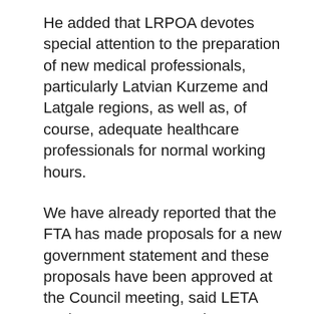He added that LRPOA devotes special attention to the preparation of new medical professionals, particularly Latvian Kurzeme and Latgale regions, as well as, of course, adequate healthcare professionals for normal working hours.
We have already reported that the FTA has made proposals for a new government statement and these proposals have been approved at the Council meeting, said LETA spokeswoman Jan Bunkus.
He pointed out that such proposals were not prepared by all governments, but because of the current situation, the newly formed cabinet was a "travel bag". These